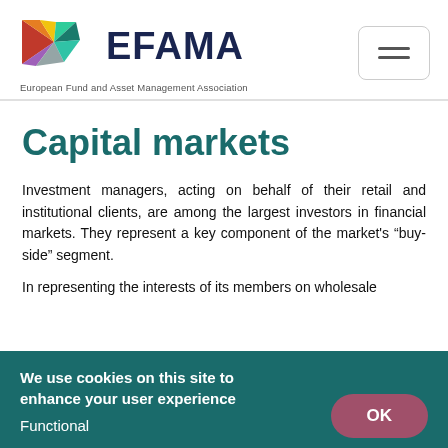[Figure (logo): EFAMA logo with colorful geometric arrow shapes and the text EFAMA in dark navy blue, with tagline European Fund and Asset Management Association]
Capital markets
Investment managers, acting on behalf of their retail and institutional clients, are among the largest investors in financial markets. They represent a key component of the market's “buy-side” segment.
In representing the interests of its members on wholesale
We use cookies on this site to enhance your user experience
Functional